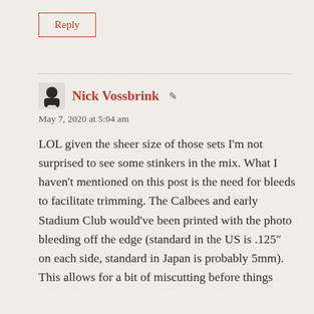Reply
Nick Vossbrink
May 7, 2020 at 5:04 am
LOL given the sheer size of those sets I'm not surprised to see some stinkers in the mix. What I haven't mentioned on this post is the need for bleeds to facilitate trimming. The Calbees and early Stadium Club would've been printed with the photo bleeding off the edge (standard in the US is .125″ on each side, standard in Japan is probably 5mm). This allows for a bit of miscutting before things